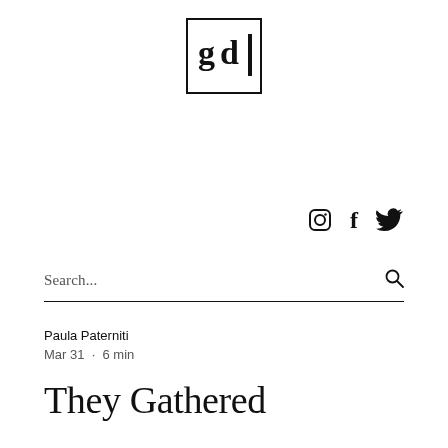[Figure (logo): Square bordered logo with stylized 'g', 'd', and 'l' letterforms inside a black rectangle border]
[Figure (infographic): Social media icons: Instagram (circle with square camera), Facebook (f), Twitter (bird)]
Search...
Paula Paterniti
Mar 31  ·  6 min
They Gathered